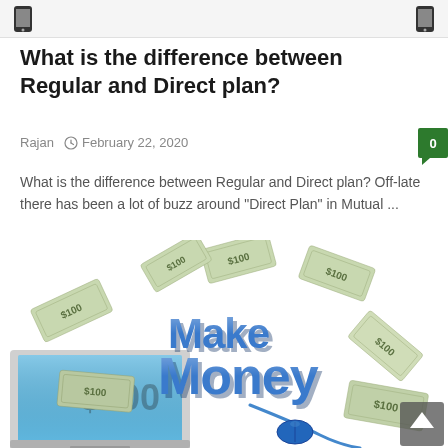What is the difference between Regular and Direct plan?
Rajan  ○ February 22, 2020
What is the difference between Regular and Direct plan? Off-late there has been a lot of buzz around “Direct Plan” in Mutual ...
[Figure (illustration): Illustration of a laptop with flying dollar bills and large 3D blue text reading 'Make Money' with a computer mouse connected to it.]